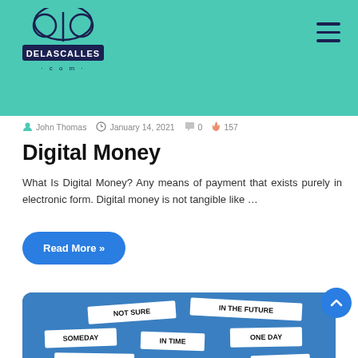DELASCALLES.com — navigation header with logo and hamburger menu
John Thomas  January 14, 2021  0  157
Digital Money
What Is Digital Money? Any means of payment that exists purely in electronic form. Digital money is not tangible like …
Read More »
[Figure (photo): Blue background with torn paper scraps showing words: NOT SURE, IN THE FUTURE, SOMEDAY, IN TIME, ONE DAY, TOMORROW, LATER, NOW!, PERHAPS, WHENEVER, NEVER, and partial words at edges]